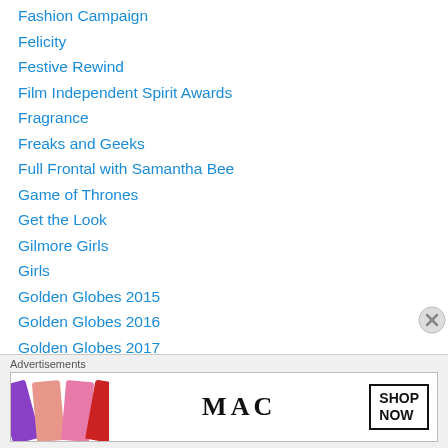Fashion Campaign
Felicity
Festive Rewind
Film Independent Spirit Awards
Fragrance
Freaks and Geeks
Full Frontal with Samantha Bee
Game of Thrones
Get the Look
Gilmore Girls
Girls
Golden Globes 2015
Golden Globes 2016
Golden Globes 2017
Golden Globes 2018
Halloween
Advertisements
[Figure (photo): MAC Cosmetics advertisement showing lipsticks in purple, pink, and red colors with MAC logo and SHOP NOW button]